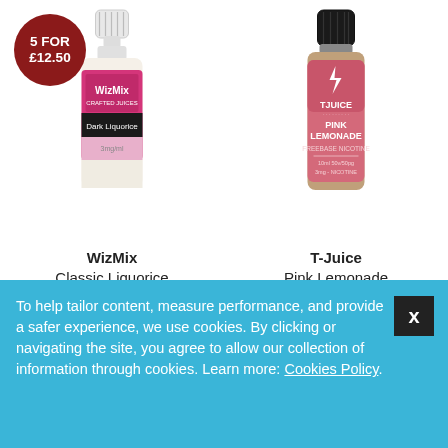[Figure (photo): WizMix Classic Liquorice e-liquid bottle with pink label, white cap, 5 for £12.50 badge overlay]
[Figure (photo): T-Juice Pink Lemonade e-liquid bottle with pink label and black cap]
WizMix
Classic Liquorice
£3.99
VIEW PRODUCT
T-Juice
Pink Lemonade
£2.50
VIEW PRODUCT
To help tailor content, measure performance, and provide a safer experience, we use cookies. By clicking or navigating the site, you agree to allow our collection of information through cookies. Learn more: Cookies Policy.